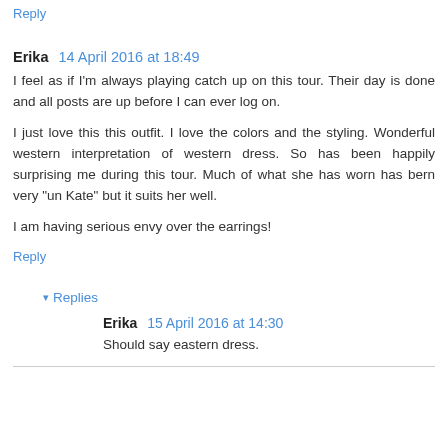Reply
Erika  14 April 2016 at 18:49
I feel as if I'm always playing catch up on this tour. Their day is done and all posts are up before I can ever log on.
I just love this this outfit. I love the colors and the styling. Wonderful western interpretation of western dress. So has been happily surprising me during this tour. Much of what she has worn has bern very "un Kate" but it suits her well.
I am having serious envy over the earrings!
Reply
Replies
Erika  15 April 2016 at 14:30
Should say eastern dress.